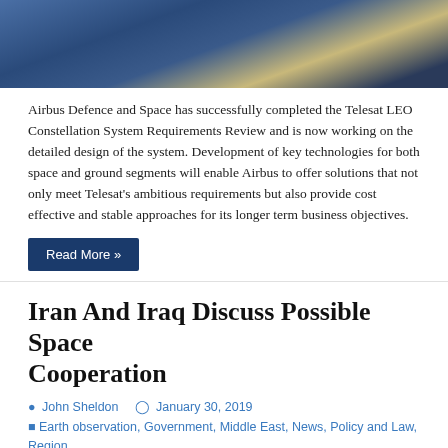[Figure (photo): Aerial satellite photo showing landmass and water from space, with blues, tans and dark regions]
Airbus Defence and Space has successfully completed the Telesat LEO Constellation System Requirements Review and is now working on the detailed design of the system. Development of key technologies for both space and ground segments will enable Airbus to offer solutions that not only meet Telesat's ambitious requirements but also provide cost effective and stable approaches for its longer term business objectives.
Read More »
Iran And Iraq Discuss Possible Space Cooperation
John Sheldon   January 30, 2019
Earth observation, Government, Middle East, News, Policy and Law, Region, Satcoms, Satellite, Satellite Launch Business, Space
[Figure (photo): Close-up of a magnifying glass over an old map showing Middle East region including areas labeled DAKHALI and ARMENI/STAN]